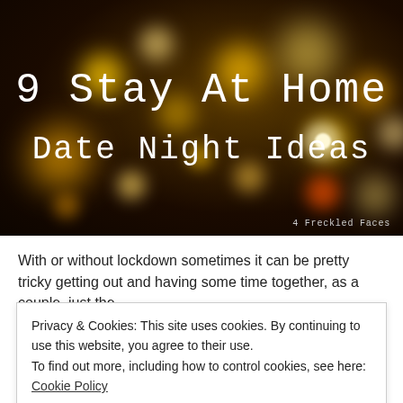[Figure (photo): Dark bokeh background image with warm orange and yellow circular light orbs, with text overlaid reading '9 Stay At Home Date Night Ideas' in a monospace white font, and watermark '4 Freckled Faces' in bottom right corner.]
With or without lockdown sometimes it can be pretty tricky getting out and having some time together as a couple, just the
Privacy & Cookies: This site uses cookies. By continuing to use this website, you agree to their use.
To find out more, including how to control cookies, see here: Cookie Policy
Close and accept
at home, full of fun and romance: